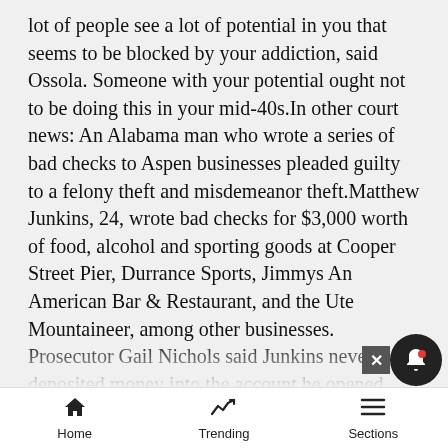lot of people see a lot of potential in you that seems to be blocked by your addiction, said Ossola. Someone with your potential ought not to be doing this in your mid-40s.In other court news: An Alabama man who wrote a series of bad checks to Aspen businesses pleaded guilty to a felony theft and misdemeanor theft.Matthew Junkins, 24, wrote bad checks for $3,000 worth of food, alcohol and sporting goods at Cooper Street Pier, Durrance Sports, Jimmys An American Bar & Restaurant, and the Ute Mountaineer, among other businesses. Prosecutor Gail Nichols said Junkins never deposited money into the account he opened, before writing checks against it last month.Garth McCarty, Junkins attorney, argued that Junkins should be released from jail on a personal recognizance bond during the holidays in order to get
Home   Trending   Sections